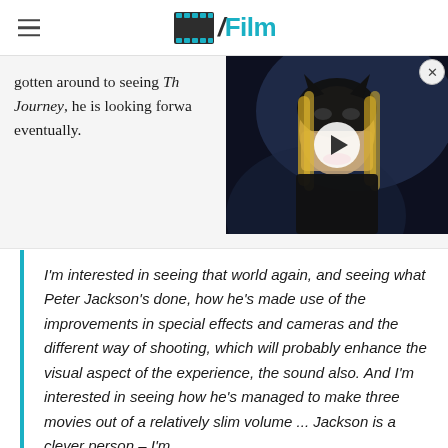/Film
gotten around to seeing Th... Journey, he is looking forwa... eventually.
[Figure (screenshot): Video player overlay showing a woman in a Catwoman-style black mask and costume with blonde hair, with a play button in the center and a close (X) button in the top right corner]
I'm interested in seeing that world again, and seeing what Peter Jackson's done, how he's made use of the improvements in special effects and cameras and the different way of shooting, which will probably enhance the visual aspect of the experience, the sound also. And I'm interested in seeing how he's managed to make three movies out of a relatively slim volume ... Jackson is a clever person – I'm